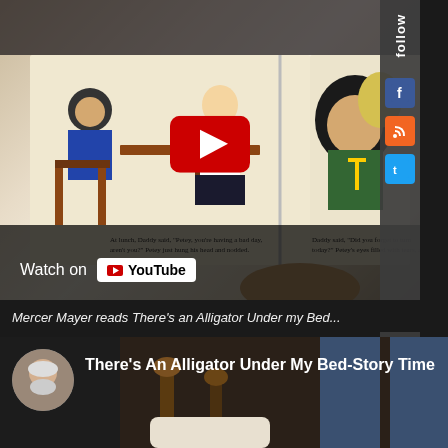[Figure (screenshot): YouTube embedded video showing Mercer Mayer book pages being read aloud, with a YouTube play button overlay and 'Watch on YouTube' badge at bottom. A sidebar on the right shows a 'follow' tab with Facebook, RSS, and Twitter social media icons.]
Mercer Mayer reads There's an Alligator Under my Bed...
[Figure (screenshot): A second YouTube video thumbnail showing 'There's An Alligator Under My Bed-Story Time' with a circular avatar of an older man with white beard and hair, set against a dark bedroom scene background.]